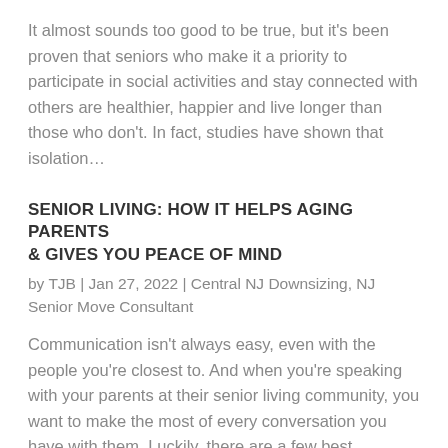It almost sounds too good to be true, but it's been proven that seniors who make it a priority to participate in social activities and stay connected with others are healthier, happier and live longer than those who don't. In fact, studies have shown that isolation…
SENIOR LIVING: HOW IT HELPS AGING PARENTS & GIVES YOU PEACE OF MIND
by TJB | Jan 27, 2022 | Central NJ Downsizing, NJ Senior Move Consultant
Communication isn't always easy, even with the people you're closest to. And when you're speaking with your parents at their senior living community, you want to make the most of every conversation you have with them. Luckily, there are a few best practices you can…